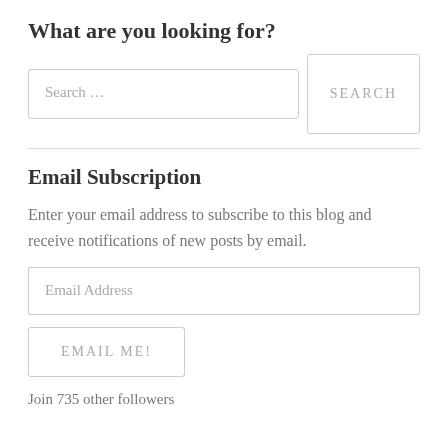What are you looking for?
Search …
SEARCH
Email Subscription
Enter your email address to subscribe to this blog and receive notifications of new posts by email.
Email Address
EMAIL ME!
Join 735 other followers